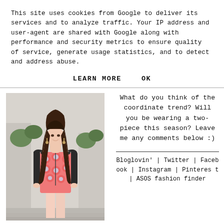This site uses cookies from Google to deliver its services and to analyze traffic. Your IP address and user-agent are shared with Google along with performance and security metrics to ensure quality of service, generate usage statistics, and to detect and address abuse.
LEARN MORE    OK
[Figure (photo): Young woman wearing a pink/red patterned two-piece coordinate outfit with a black leather jacket, standing outdoors.]
What do you think of the coordinate trend? Will you be wearing a two-piece this season? Leave me any comments below :)
Bloglovin' | Twitter | Facebook | Instagram | Pinterest | ASOS fashion finder
[Figure (other): Row of social media icons: Instagram, Twitter, Facebook, Pinterest, heart, YouTube, and a circular icon.]